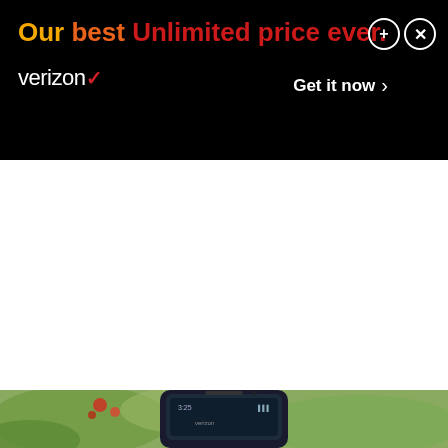[Figure (infographic): Verizon advertisement banner with black background. Headline reads 'Our best Unlimited price ever.' in gradient colors from yellow to red. Verizon logo with red checkmark on lower left. 'Get it now >' call to action on lower right. Plus and X circle buttons in top right corner.]
[Figure (photo): Bottom portion of a smartphone (Verizon branded) held against a blurred outdoor background with green foliage and red flowers. The phone screen is partially visible showing a dark interface.]